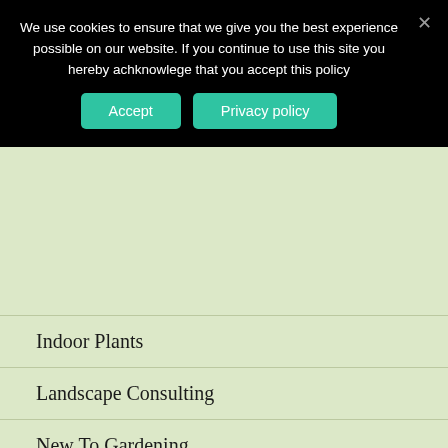We use cookies to ensure that we give you the best experience possible on our website. If you continue to use this site you hereby achknowlege that you accept this policy
Indoor Plants
Landscape Consulting
New To Gardening
Ornamental Trees
Perennials
Plant Guide